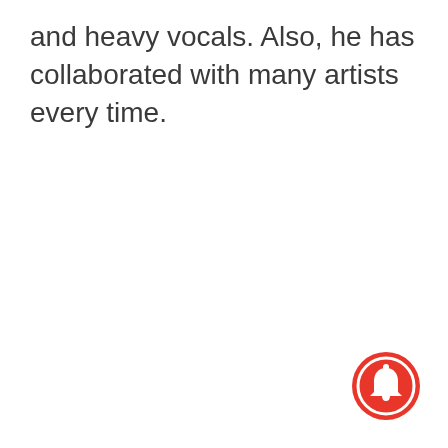and heavy vocals. Also, he has collaborated with many artists every time.
[Figure (other): Red circular notification bell button icon in the bottom-right corner]